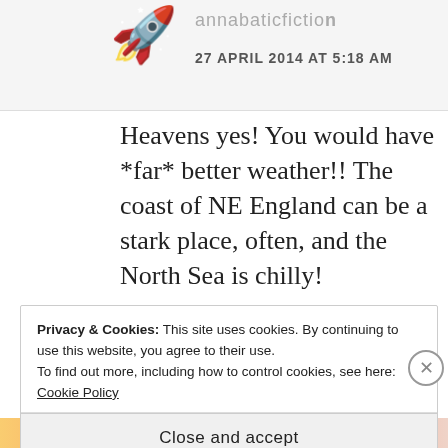annabaticfiction 27 APRIL 2014 AT 5:18 AM
Heavens yes! You would have *far* better weather!! The coast of NE England can be a stark place, often, and the North Sea is chilly!
★ Like
Privacy & Cookies: This site uses cookies. By continuing to use this website, you agree to their use.
To find out more, including how to control cookies, see here: Cookie Policy
Close and accept